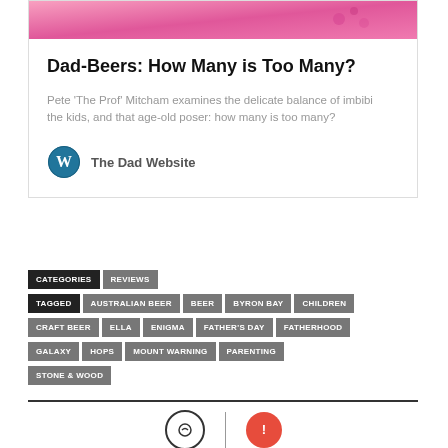[Figure (photo): Pink background banner image at top of card]
Dad-Beers: How Many is Too Many?
Pete ‘The Prof’ Mitcham examines the delicate balance of imbibing the kids, and that age-old poser: how many is too many?
The Dad Website
CATEGORIES
REVIEWS
TAGGED
AUSTRALIAN BEER
BEER
BYRON BAY
CHILDREN
CRAFT BEER
ELLA
ENIGMA
FATHER'S DAY
FATHERHOOD
GALAXY
HOPS
MOUNT WARNING
PARENTING
STONE & WOOD
[Figure (illustration): Two circular icons separated by a vertical divider at the bottom of the page]